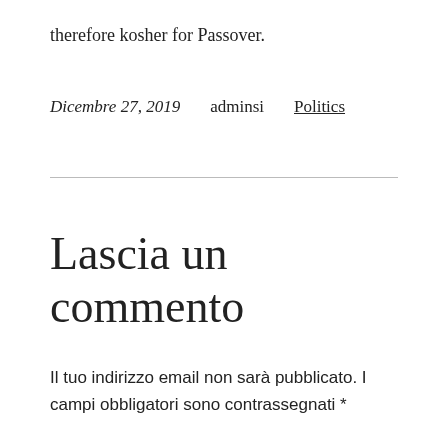therefore kosher for Passover.
Dicembre 27, 2019   adminsi   Politics
Lascia un commento
Il tuo indirizzo email non sarà pubblicato. I campi obbligatori sono contrassegnati *